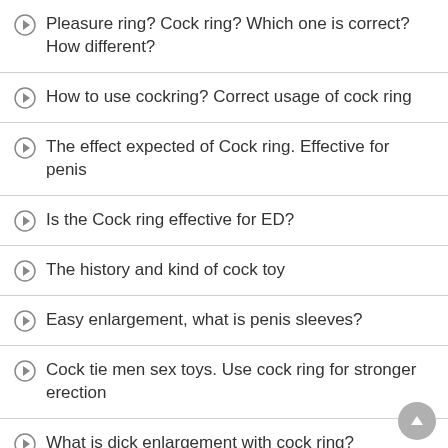Pleasure ring? Cock ring? Which one is correct? How different?
How to use cockring? Correct usage of cock ring
The effect expected of Cock ring. Effective for penis
Is the Cock ring effective for ED?
The history and kind of cock toy
Easy enlargement, what is penis sleeves?
Cock tie men sex toys. Use cock ring for stronger erection
What is dick enlargement with cock ring?